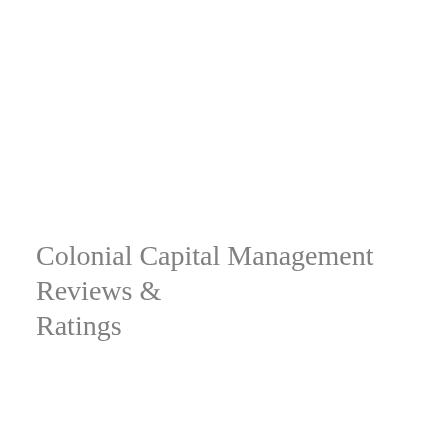Colonial Capital Management Reviews & Ratings